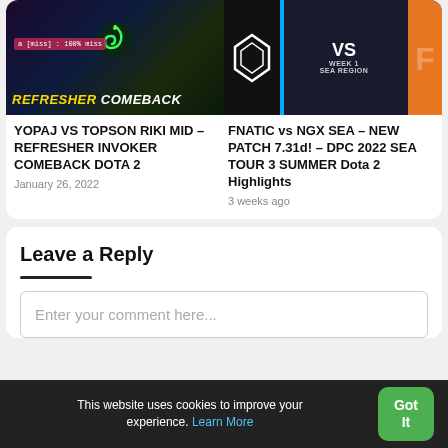[Figure (screenshot): Gaming thumbnail: YOPAJ VS TOPSON RIKI MID – REFRESHER INVOKER COMEBACK DOTA 2]
[Figure (screenshot): Esports thumbnail: FNATIC vs NGX SEA, VS WEEK 1 SEA REGION graphic]
YOPAJ VS TOPSON RIKI MID – REFRESHER INVOKER COMEBACK DOTA 2
January 26, 2022
FNATIC vs NGX SEA – NEW PATCH 7.31d! – DPC 2022 SEA TOUR 3 SUMMER Dota 2 Highlights
3 weeks ago
Leave a Reply
Enter your comment here...
This website uses cookies to improve your experience. Learn More